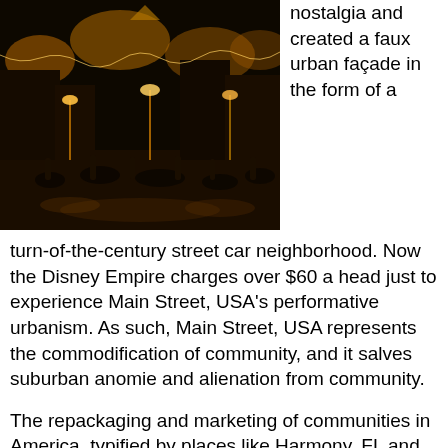[Figure (photo): Nighttime street scene with warm golden lights, crowds of people on a decorated street reminiscent of early 20th century American town.]
nostalgia and created a faux urban façade in the form of a turn-of-the-century street car neighborhood. Now the Disney Empire charges over $60 a head just to experience Main Street, USA's performative urbanism. As such, Main Street, USA represents the commodification of community, and it salves suburban anomie and alienation from community.
The repackaging and marketing of communities in America, typified by places like Harmony, FL and Main Street, USA, suggest that we have no sense of place, or at least a very slippery sense of place that shifts with market values. The drive to make money seems stronger than the will to preserve in the first place space that enhances community. In his recently published book, American Vertigo, Bernard-Henri Levy observes America's willingness to allow cities like New Orleans and Detroit to die and writes, “That a city could die, for a European, that is unthinkable.” I am also reminded of the recent comments of the owner of Vandyland on West